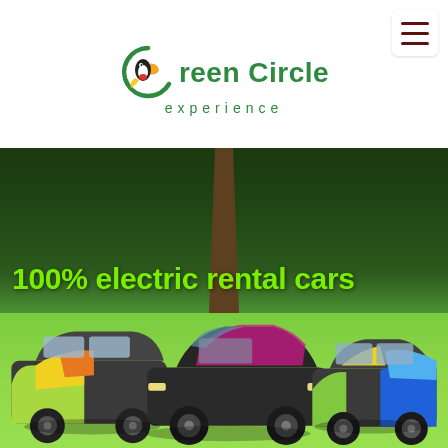[Figure (logo): Green Circle Experience logo with toucan bird icon. Text reads 'Green Circle experience' in green and dark grey.]
[Figure (photo): Three electric cars with colorful wrap designs parked on a green lawn in front of lush green trees. Text overlay reads '100% electric rental cars' in bright green bold font.]